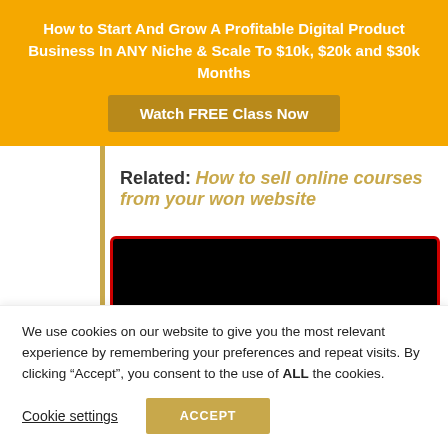How to Start And Grow A Profitable Digital Product Business In ANY Niche & Scale To $10k, $20k and $30k Months
Watch FREE Class Now
Related: How to sell online courses from your won website
[Figure (other): Black video embed area with red border]
We use cookies on our website to give you the most relevant experience by remembering your preferences and repeat visits. By clicking “Accept”, you consent to the use of ALL the cookies.
Cookie settings | ACCEPT